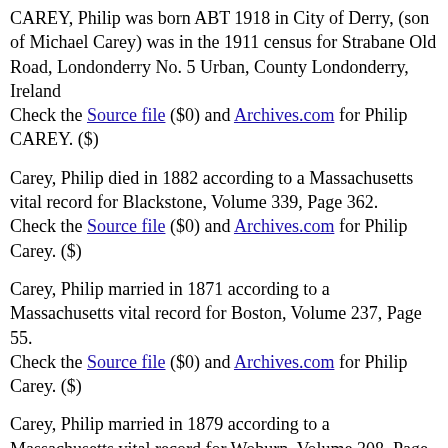CAREY, Philip was born ABT 1918 in City of Derry, (son of Michael Carey) was in the 1911 census for Strabane Old Road, Londonderry No. 5 Urban, County Londonderry, Ireland
Check the Source file ($0) and Archives.com for Philip CAREY. ($)
Carey, Philip died in 1882 according to a Massachusetts vital record for Blackstone, Volume 339, Page 362.
Check the Source file ($0) and Archives.com for Philip Carey. ($)
Carey, Philip married in 1871 according to a Massachusetts vital record for Boston, Volume 237, Page 55.
Check the Source file ($0) and Archives.com for Philip Carey. ($)
Carey, Philip married in 1879 according to a Massachusetts vital record for Woburn, Volume 308, Page 218.
Check the Source file ($0) and Archives.com for Philip Carey.